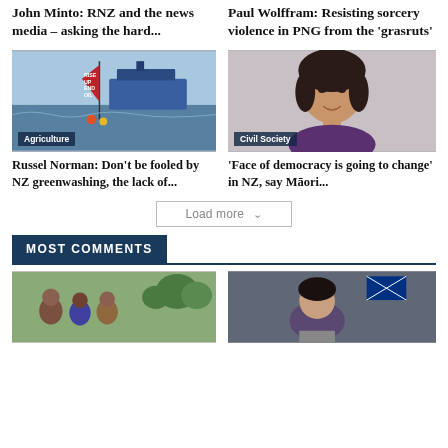John Minto: RNZ and the news media – asking the hard...
Paul Wolffram: Resisting sorcery violence in PNG from the 'grasruts'
[Figure (photo): Greenpeace sailboat with 'RISE UP END OIL' flag on ocean with large ship in background, Agriculture label]
[Figure (photo): Woman smiling, dark hair up, purple top, Civil Society label]
Russel Norman: Don't be fooled by NZ greenwashing, the lack of...
'Face of democracy is going to change' in NZ, say Māori...
Load more
MOST COMMENTS
[Figure (photo): Group of women outdoors, trees in background]
[Figure (photo): Woman at podium with New Zealand flag in background]